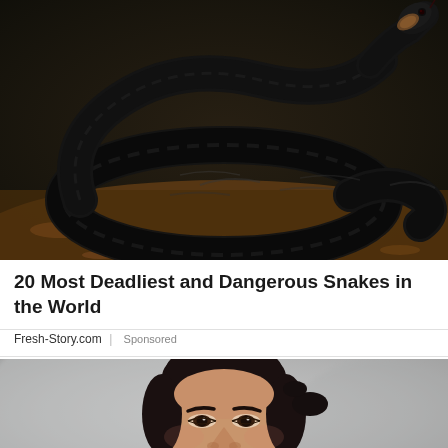[Figure (photo): Close-up photograph of a black snake coiled on brown mulch/wood chips, with its head raised and tongue flicking out]
20 Most Deadliest and Dangerous Snakes in the World
Fresh-Story.com | Sponsored
[Figure (photo): Portrait photo of a young woman with dark hair pulled back, smiling slightly, against a blurred light background]